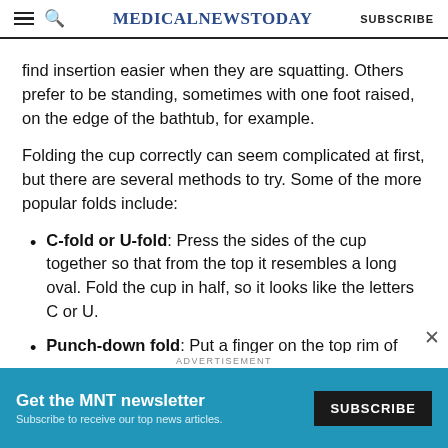MedicalNewsToday SUBSCRIBE
find insertion easier when they are squatting. Others prefer to be standing, sometimes with one foot raised, on the edge of the bathtub, for example.
Folding the cup correctly can seem complicated at first, but there are several methods to try. Some of the more popular folds include:
C-fold or U-fold: Press the sides of the cup together so that from the top it resembles a long oval. Fold the cup in half, so it looks like the letters C or U.
Punch-down fold: Put a finger on the top rim of
ADVERTISEMENT
[Figure (infographic): MNT newsletter subscription advertisement banner with blue background, showing 'Get the MNT newsletter' title, 'Subscribe to receive our top news articles.' subtitle, and a SUBSCRIBE button on dark background.]